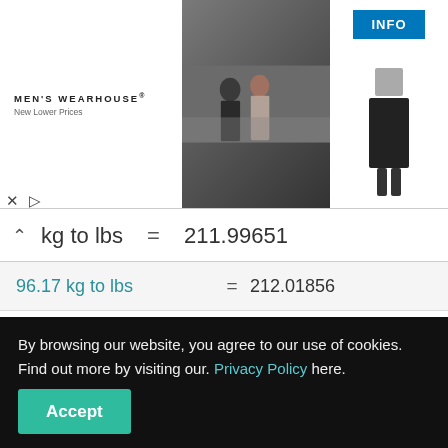[Figure (photo): Men's Wearhouse advertisement banner showing a couple in formal wear and a man in a tuxedo, with an INFO button]
96.16 kg to lbs = 211.99651
| Conversion | = | Result |
| --- | --- | --- |
| 96.17 kg to lbs | = | 212.01856 |
| 96.18 kg to lbs | = | 212.04060 |
| 96.19 kg to lbs | = | 212.06265 |
| 96.2 kg to lbs | = | 212.08470 |
By browsing our website, you agree to our use of cookies. Find out more by visiting our. Privacy Policy here.
Accept